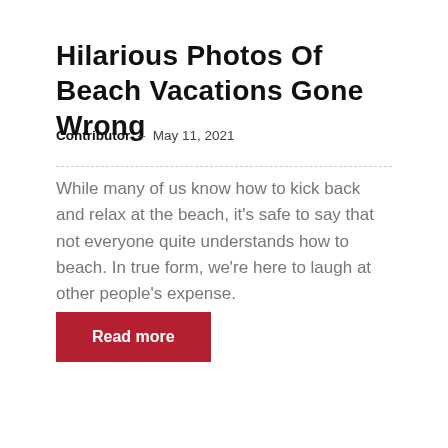Hilarious Photos Of Beach Vacations Gone Wrong
Contributor – May 11, 2021
While many of us know how to kick back and relax at the beach, it's safe to say that not everyone quite understands how to beach. In true form, we're here to laugh at other people's expense.
Read more